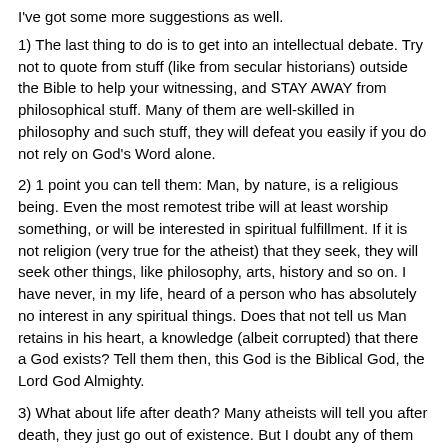I've got some more suggestions as well.
1) The last thing to do is to get into an intellectual debate. Try not to quote from stuff (like from secular historians) outside the Bible to help your witnessing, and STAY AWAY from philosophical stuff. Many of them are well-skilled in philosophy and such stuff, they will defeat you easily if you do not rely on God's Word alone.
2) 1 point you can tell them: Man, by nature, is a religious being. Even the most remotest tribe will at least worship something, or will be interested in spiritual fulfillment. If it is not religion (very true for the atheist) that they seek, they will seek other things, like philosophy, arts, history and so on. I have never, in my life, heard of a person who has absolutely no interest in any spiritual things. Does that not tell us Man retains in his heart, a knowledge (albeit corrupted) that there a God exists? Tell them then, this God is the Biblical God, the Lord God Almighty.
3) What about life after death? Many atheists will tell you after death, they just go out of existence. But I doubt any of them will feel comfortable about it. Aha! The conscience. The fear, that judgment shall come for them after death. Another evidence of God's existence. Focus on this part, the conscience (as the other